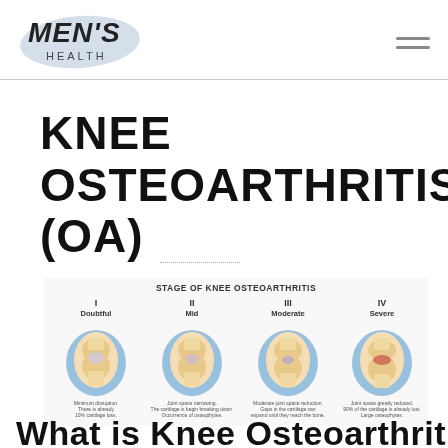MEN'S HEALTH
KNEE OSTEOARTHRITIS (OA)
[Figure (illustration): Diagram showing four stages of knee osteoarthritis: I Doubtful, II Mild, III Moderate, IV Severe, with anatomical cross-section knee illustrations and descriptions of cartilage and joint space changes for each stage. Title: STAGE OF KNEE OSTEOARTHRITIS]
What is Knee Osteoarthritis?